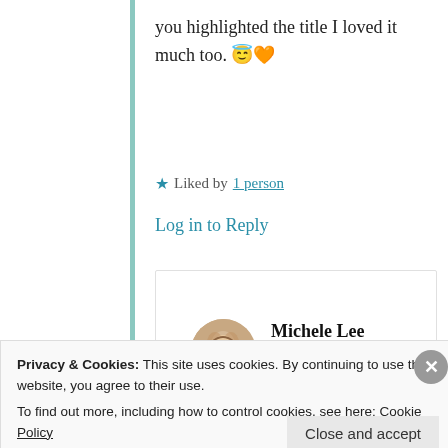you highlighted the title I loved it much too. 😇🧡
★ Liked by 1 person
Log in to Reply
Michele Lee
10th Jun 2021 at 5:23 pm
Privacy & Cookies: This site uses cookies. By continuing to use this website, you agree to their use. To find out more, including how to control cookies, see here: Cookie Policy